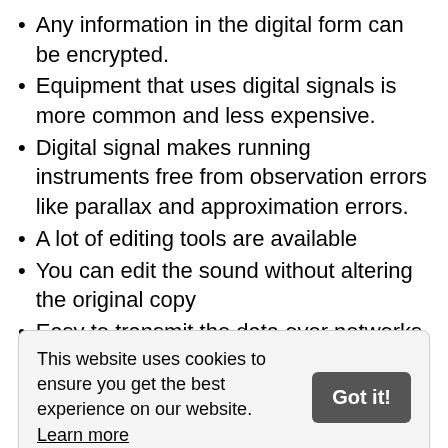Any information in the digital form can be encrypted.
Equipment that uses digital signals is more common and less expensive.
Digital signal makes running instruments free from observation errors like parallax and approximation errors.
A lot of editing tools are available
You can edit the sound without altering the original copy
Easy to transmit the data over networks
This website uses cookies to ensure you get the best experience on our website. Learn more
Sampling may cause a loss of information.